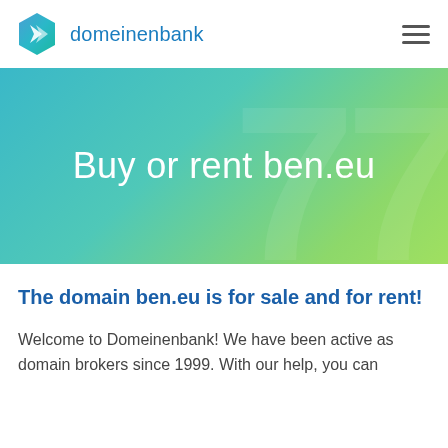[Figure (logo): Domeinenbank hexagon logo in blue-teal gradient with white arrow chevron, followed by text 'domeinenbank' in blue]
[Figure (infographic): Hero banner with teal-to-green gradient background and large text 'Buy or rent ben.eu' in white, with faint large number watermark]
The domain ben.eu is for sale and for rent!
Welcome to Domeinenbank! We have been active as domain brokers since 1999. With our help, you can